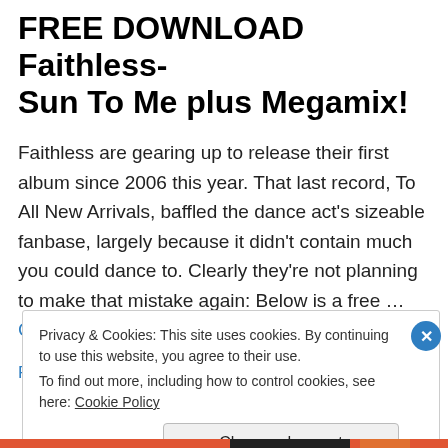FREE DOWNLOAD Faithless- Sun To Me plus Megamix!
Faithless are gearing up to release their first album since 2006 this year. That last record, To All New Arrivals, baffled the dance act's sizeable fanbase, largely because it didn't contain much you could dance to. Clearly they're not planning to make that mistake again: Below is a free … Continue reading →
February 18, 2010
Leave a Reply
Privacy & Cookies: This site uses cookies. By continuing to use this website, you agree to their use.
To find out more, including how to control cookies, see here: Cookie Policy
Close and accept